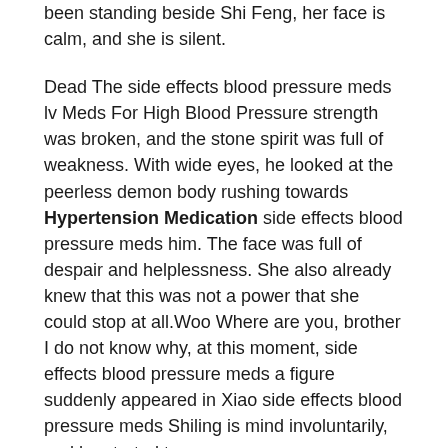been standing beside Shi Feng, her face is calm, and she is silent.
Dead The side effects blood pressure meds lv Meds For High Blood Pressure strength was broken, and the stone spirit was full of weakness. With wide eyes, he looked at the peerless demon body rushing towards Hypertension Medication side effects blood pressure meds him. The face was full of despair and helplessness. She also already knew that this was not a power that she could stop at all.Woo Where are you, brother I do not know why, at this moment, side effects blood pressure meds a figure suddenly appeared in Xiao side effects blood pressure meds Shiling is mind involuntarily, and he started to cry.
Yes, the Great Emperor The eight guards responded, and then began to operate.